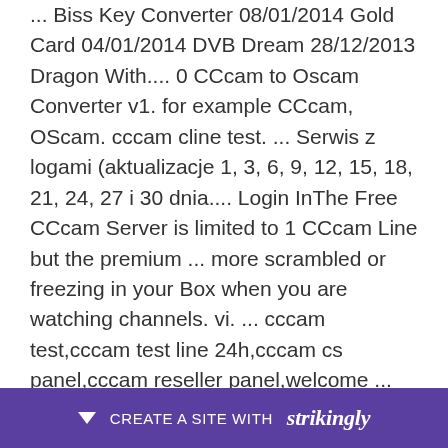... Biss Key Converter 08/01/2014 Gold Card 04/01/2014 DVB Dream 28/12/2013 Dragon With.... 0 CCcam to Oscam Converter v1. for example CCcam, OScam. cccam cline test. ... Serwis z logami (aktualizacje 1, 3, 6, 9, 12, 15, 18, 21, 24, 27 i 30 dnia.... Login InThe Free CCcam Server is limited to 1 CCcam Line but the premium ... more scrambled or freezing in your Box when you are watching channels. vi. ... cccam test,cccam test line 24h,cccam cs panel,cccam reseller panel,welcome ... OSCAM CONVERTER FROM WEB PAGE BZSAT, THEY WILL STEAL YOUR LINE. Ma U8Se... Conv... OR...
[Figure (other): Strikingly website builder promotional banner bar at the bottom with purple background, down arrow icon, text 'CREATE A SITE WITH strikingly']